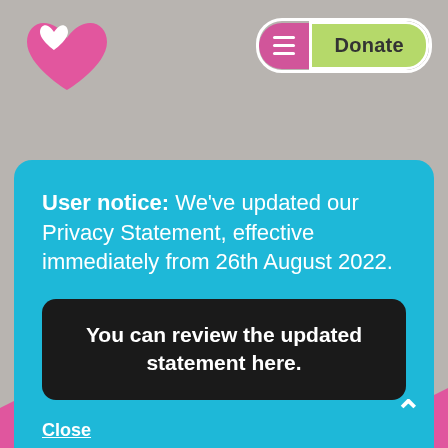[Figure (logo): Pink heart-shaped logo with white heart cutout, top-left corner]
[Figure (infographic): Navigation bar with pink hamburger menu button and green Donate button, top-right]
User notice: We've updated our Privacy Statement, effective immediately from 26th August 2022.
You can review the updated statement here.
Close